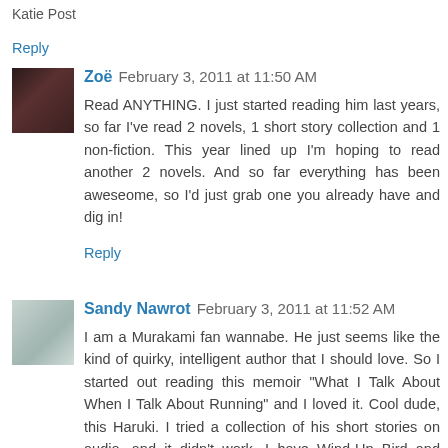Katie Post
Reply
Zoë  February 3, 2011 at 11:50 AM
Read ANYTHING. I just started reading him last years, so far I've read 2 novels, 1 short story collection and 1 non-fiction. This year lined up I'm hoping to read another 2 novels. And so far everything has been aweseome, so I'd just grab one you already have and dig in!
Reply
Sandy Nawrot  February 3, 2011 at 11:52 AM
I am a Murakami fan wannabe. He just seems like the kind of quirky, intelligent author that I should love. So I started out reading this memoir "What I Talk About When I Talk About Running" and I loved it. Cool dude, this Haruki. I tried a collection of his short stories on audio, and it didn't work. I have Wind-Up Bird and Kafka on my shelves. I need to get